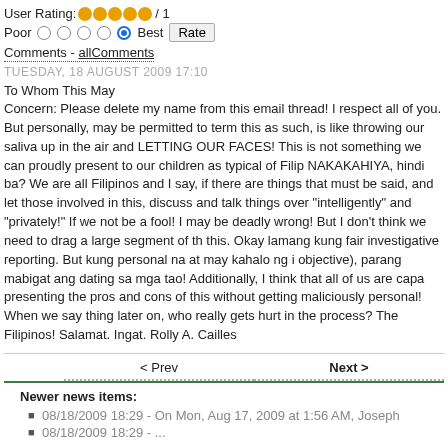User Rating: ●●●●● / 1
Poor ○ ○ ○ ○ ● Best [Rate]
Comments - allComments
TUESDAY, 18 AUGUST 2009 17:10
To Whom This May
Concern: Please delete my name from this email thread! I respect all of you. But personally, may be permitted to term this as such, is like throwing our saliva up in the air and LETTING OUR FACES! This is not something we can proudly present to our children as typical of Fili NAKAKAHIYA, hindi ba? We are all Filipinos and I say, if there are things that must be said, and let those involved in this, discuss and talk things over "intelligently" and "privately!" If we not be a fool! I may be deadly wrong! But I don't think we need to drag a large segment of th this. Okay lamang kung fair investigative reporting. But kung personal na at may kahalo ng i objective), parang mabigat ang dating sa mga tao! Additionally, I think that all of us are capa presenting the pros and cons of this without getting maliciously personal! When we say thing later on, who really gets hurt in the process? The Filipinos! Salamat. Ingat. Rolly A. Cailles
< Prev
Next >
Newer news items:
08/18/2009 18:29 - On Mon, Aug 17, 2009 at 1:56 AM, Joseph
08/18/2009 18:29 - ...